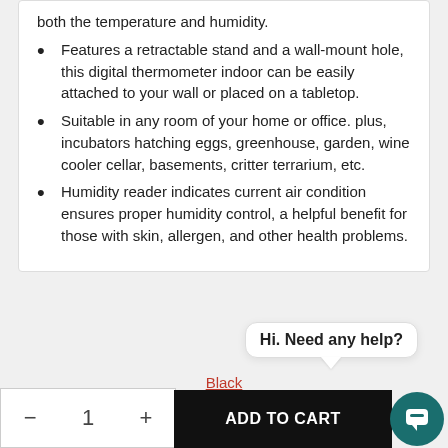both the temperature and humidity.
Features a retractable stand and a wall-mount hole, this digital thermometer indoor can be easily attached to your wall or placed on a tabletop.
Suitable in any room of your home or office. plus, incubators hatching eggs, greenhouse, garden, wine cooler cellar, basements, critter terrarium, etc.
Humidity reader indicates current air condition ensures proper humidity control, a helpful benefit for those with skin, allergen, and other health problems.
Hi. Need any help?
Black
- 1 + ADD TO CART